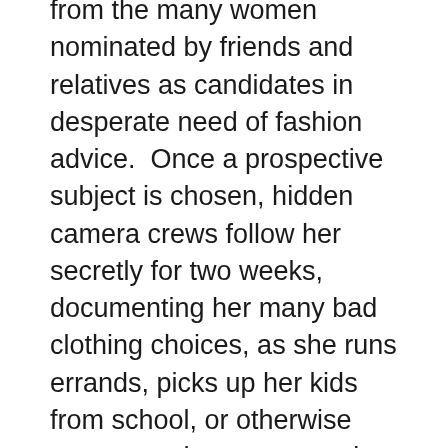from the many women nominated by friends and relatives as candidates in desperate need of fashion advice. Once a prospective subject is chosen, hidden camera crews follow her secretly for two weeks, documenting her many bad clothing choices, as she runs errands, picks up her kids from school, or otherwise goes upon her unsuspecting way.
Then the woman is ambushed: Stacy and Clinton show up at the woman's workplace or at what she thinks will be a night out with friends or family. The two experts screen the hidden camera footage for the woman and her companions. The video shows the subject walking around in what Stacy and Clinton have deemed Really Bad Wardrobe Decisions; the hosts then offer the woman a chance at a transformation which includes a $5,000 debit card to fund a week of clothes